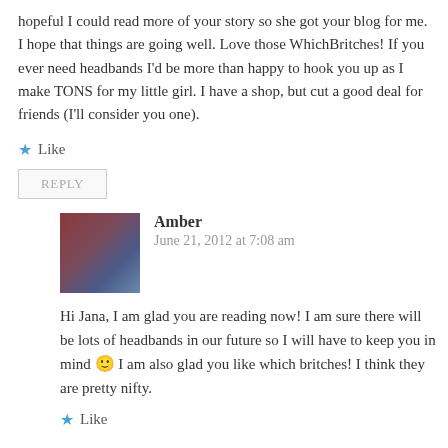hopeful I could read more of your story so she got your blog for me. I hope that things are going well. Love those WhichBritches! If you ever need headbands I'd be more than happy to hook you up as I make TONS for my little girl. I have a shop, but cut a good deal for friends (I'll consider you one).
Like
REPLY
Amber
June 21, 2012 at 7:08 am
[Figure (photo): Avatar photo of commenter Amber, shows a woman with children]
Hi Jana, I am glad you are reading now! I am sure there will be lots of headbands in our future so I will have to keep you in mind 🙂 I am also glad you like which britches! I think they are pretty nifty.
Like